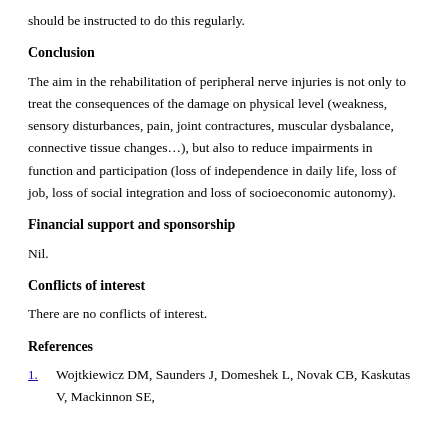should be instructed to do this regularly.
Conclusion
The aim in the rehabilitation of peripheral nerve injuries is not only to treat the consequences of the damage on physical level (weakness, sensory disturbances, pain, joint contractures, muscular dysbalance, connective tissue changes…), but also to reduce impairments in function and participation (loss of independence in daily life, loss of job, loss of social integration and loss of socioeconomic autonomy).
Financial support and sponsorship
Nil.
Conflicts of interest
There are no conflicts of interest.
References
1. Wojtkiewicz DM, Saunders J, Domeshek L, Novak CB, Kaskutas V, Mackinnon SE,